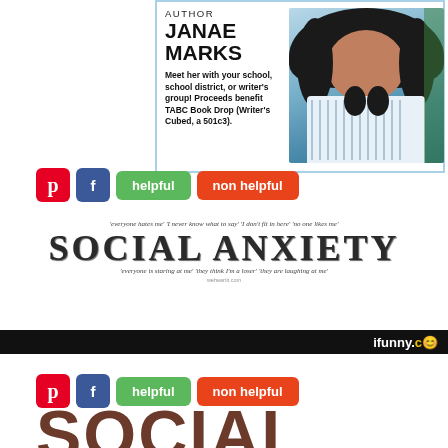[Figure (other): Author promotional box with photo of Janae Marks, a woman with curly hair wearing a striped shirt. Text reads 'AUTHOR JANAE MARKS' and 'Meet her with your school, school district, or writer's group! Proceeds benefit TABC Book Drop (Writer's Cubed, a 501c3).']
[Figure (other): Buttons row with Pinterest (red), Facebook (blue), green 'helpful' button, red 'non helpful' button]
[Figure (infographic): Social Anxiety graphic with italic text above: 'everyone hates me' 'I never know what to say' 'I don't fit in here' 'no one likes me', large bold text SOCIAL ANXIETY, italic text below: 'everyone is staring at me' 'they think I'm a loser' 'they are laughing at me']
[Figure (other): iFunny.co black banner bar with yellow smiley logo]
[Figure (other): Second buttons row with Pinterest, Facebook, helpful, non helpful buttons]
SOCIAL